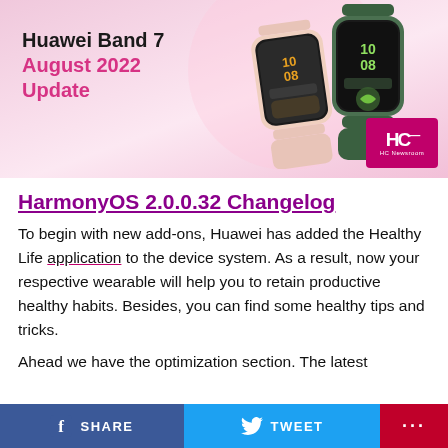[Figure (illustration): Huawei Band 7 August 2022 Update promotional banner with pink/lavender background showing two Huawei Band 7 smartwatches (one gold/pink, one dark green) and HC Newsroom logo in bottom right corner.]
HarmonyOS 2.0.0.32 Changelog
To begin with new add-ons, Huawei has added the Healthy Life application to the device system. As a result, now your respective wearable will help you to retain productive healthy habits. Besides, you can find some healthy tips and tricks.
Ahead we have the optimization section. The latest
SHARE   TWEET   ...